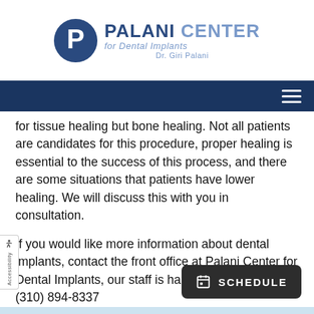[Figure (logo): Palani Center for Dental Implants logo with circular P icon and text]
for tissue healing but bone healing. Not all patients are candidates for this procedure, proper healing is essential to the success of this process, and there are some situations that patients have lower healing. We will discuss this with you in consultation.
If you would like more information about dental implants, contact the front office at Palani Center for Dental Implants, our staff is happy to assist you. (310) 894-8337